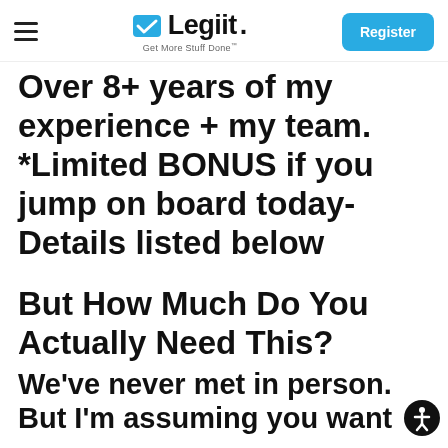Legiit - Get More Stuff Done | Register
Over 8+ years of my experience + my team. *Limited BONUS if you jump on board today- Details listed below
But How Much Do You Actually Need This?
We've never met in person. But I'm assuming you want